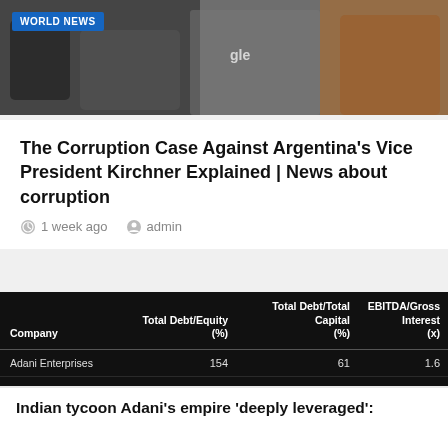[Figure (photo): Top banner photo showing people with protest signs and jackets, with a WORLD NEWS badge overlay]
The Corruption Case Against Argentina's Vice President Kirchner Explained | News about corruption
1 week ago  admin
| Company | Total Debt/Equity (%) | Total Debt/Total Capital (%) | EBITDA/Gross Interest (x) |
| --- | --- | --- | --- |
| Adani Enterprises | 154 | 61 | 1.6 |
| Adani Green Energy | 2,023 | 95 | 1.5 |
| Adani Ports and SEZ | 123 | 55 | 3.8 |
| Adani Power | 311 | 76 | 2.4 |
| Adani Total Gas | 43 | 30 |  |
| Adani Energy Solutions / Transmission | 272 | 73 | 1.8 |
Indian tycoon Adani's empire 'deeply leveraged':